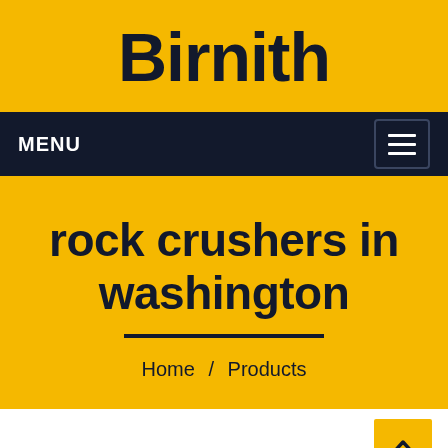Birnith
MENU
rock crushers in washington
Home / Products